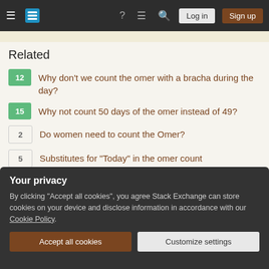Stack Exchange navigation bar with Log in and Sign up buttons
Related
12 Why don't we count the omer with a bracha during the day?
15 Why not count 50 days of the omer instead of 49?
2 Do women need to count the Omer?
5 Substitutes for "Today" in the omer count
6 Is there an obligation to Count the Omer without a Bracha?
1 We do not bring the omer offering, so why do we still count?
Your privacy
By clicking "Accept all cookies", you agree Stack Exchange can store cookies on your device and disclose information in accordance with our Cookie Policy.